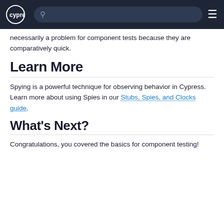cypress [search bar] [menu]
necessarily a problem for component tests because they are comparatively quick.
Learn More
Spying is a powerful technique for observing behavior in Cypress. Learn more about using Spies in our Stubs, Spies, and Clocks guide.
What's Next?
Congratulations, you covered the basics for component testing!